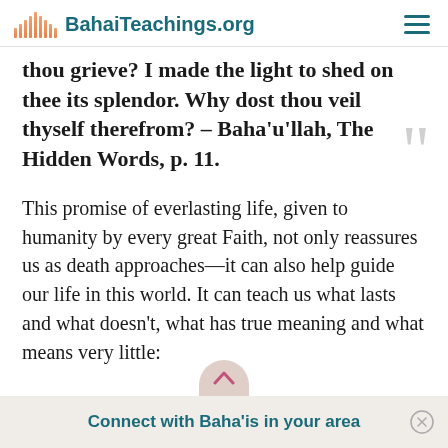BahaiTeachings.org
thou grieve? I made the light to shed on thee its splendor. Why dost thou veil thyself therefrom? – Baha'u'llah, The Hidden Words, p. 11.
This promise of everlasting life, given to humanity by every great Faith, not only reassures us as death approaches—it can also help guide our life in this world. It can teach us what lasts and what doesn't, what has true meaning and what means very little:
Connect with Baha'is in your area